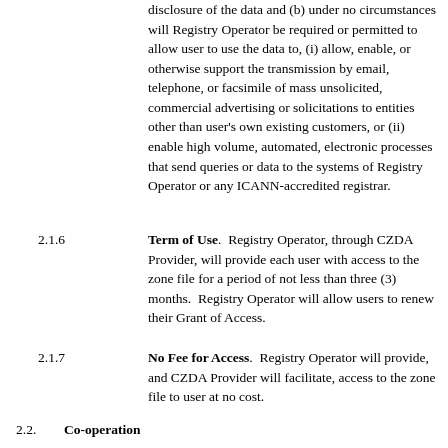disclosure of the data and (b) under no circumstances will Registry Operator be required or permitted to allow user to use the data to, (i) allow, enable, or otherwise support the transmission by email, telephone, or facsimile of mass unsolicited, commercial advertising or solicitations to entities other than user's own existing customers, or (ii) enable high volume, automated, electronic processes that send queries or data to the systems of Registry Operator or any ICANN-accredited registrar.
2.1.6  Term of Use.  Registry Operator, through CZDA Provider, will provide each user with access to the zone file for a period of not less than three (3) months.  Registry Operator will allow users to renew their Grant of Access.
2.1.7  No Fee for Access.  Registry Operator will provide, and CZDA Provider will facilitate, access to the zone file to user at no cost.
2.2.  Co-operation